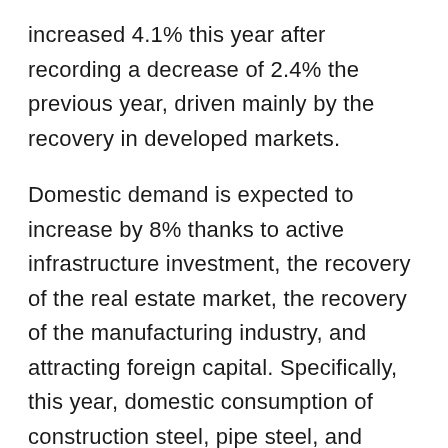increased 4.1% this year after recording a decrease of 2.4% the previous year, driven mainly by the recovery in developed markets.
Domestic demand is expected to increase by 8% thanks to active infrastructure investment, the recovery of the real estate market, the recovery of the manufacturing industry, and attracting foreign capital. Specifically, this year, domestic consumption of construction steel, pipe steel, and galvanized sheets is expected to increase by 9%, 8%, and 8%, respectively. Vietnam's steel exports are also viewed more positively this year.